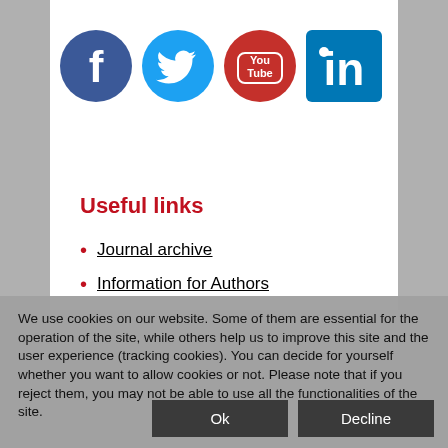[Figure (logo): Social media icons row: Facebook (dark blue circle with white f), Twitter (light blue circle with white bird), YouTube (red circle with white YouTube logo), LinkedIn (blue square with white 'in' logo)]
Useful links
Journal archive
Information for Authors
We use cookies on our website. Some of them are essential for the operation of the site, while others help us to improve this site and the user experience (tracking cookies). You can decide for yourself whether you want to allow cookies or not. Please note that if you reject them, you may not be able to use all the functionalities of the site.
Ok
Decline